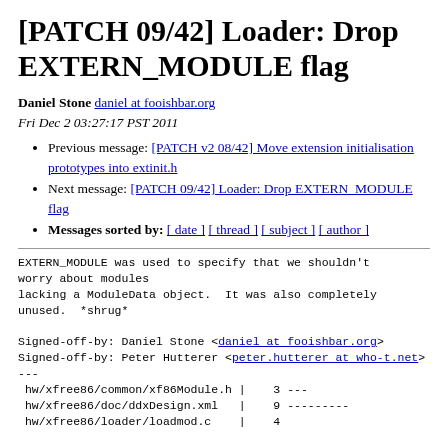[PATCH 09/42] Loader: Drop EXTERN_MODULE flag
Daniel Stone daniel at fooishbar.org
Fri Dec 2 03:27:17 PST 2011
Previous message: [PATCH v2 08/42] Move extension initialisation prototypes into extinit.h
Next message: [PATCH 09/42] Loader: Drop EXTERN_MODULE flag
Messages sorted by: [ date ] [ thread ] [ subject ] [ author ]
EXTERN_MODULE was used to specify that we shouldn't worry about modules
lacking a ModuleData object.  It was also completely unused.  *shrug*

Signed-off-by: Daniel Stone <daniel at fooishbar.org>
Signed-off-by: Peter Hutterer <peter.hutterer at who-t.net>
---
 hw/xfree86/common/xf86Module.h |    3 ---
 hw/xfree86/doc/ddxDesign.xml    |    9 ---------
 hw/xfree86/loader/loadmod.c     |    4